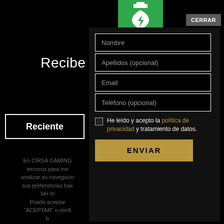[Figure (screenshot): AED Espacio Cardioprotegido green logo with heart and lightning bolt symbol]
CERRAR
Recibe las novedades
Reciente
En CIRSA GAMING terceros para me analizar su navegacio sus preferencias bas Ver m Puede aceptar 'ACEPTAR' o confi b
Nombre
Apellidos (opcional)
Email
Teléfono (opcional)
He leído y acepto la política de privacidad y tratamiento de datos.
ENVIAR